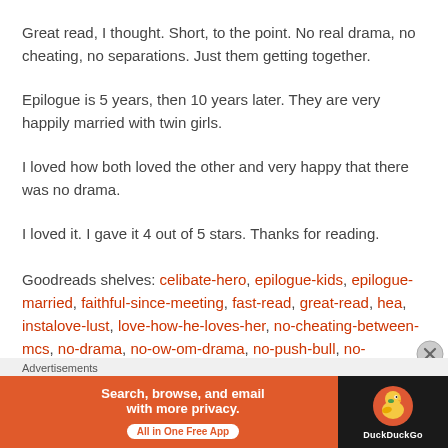Great read, I thought. Short, to the point. No real drama, no cheating, no separations. Just them getting together.
Epilogue is 5 years, then 10 years later. They are very happily married with twin girls.
I loved how both loved the other and very happy that there was no drama.
I loved it. I gave it 4 out of 5 stars. Thanks for reading.
Goodreads shelves: celibate-hero, epilogue-kids, epilogue-married, faithful-since-meeting, fast-read, great-read, hea, instalove-lust, love-how-he-loves-her, no-cheating-between-mcs, no-drama, no-ow-om-drama, no-push-bull, no-separations, no-sex-scenes-with-ow-om.
Advertisements
[Figure (screenshot): DuckDuckGo advertisement banner: 'Search, browse, and email with more privacy. All in One Free App' with DuckDuckGo logo on dark background.]